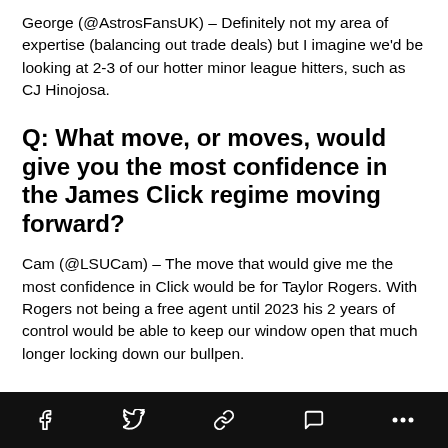George (@AstrosFansUK) – Definitely not my area of expertise (balancing out trade deals) but I imagine we'd be looking at 2-3 of our hotter minor league hitters, such as CJ Hinojosa.
Q: What move, or moves, would give you the most confidence in the James Click regime moving forward?
Cam (@LSUCam) – The move that would give me the most confidence in Click would be for Taylor Rogers. With Rogers not being a free agent until 2023 his 2 years of control would be able to keep our window open that much longer locking down our bullpen.
Social share bar with Facebook, Twitter, link, comment, and more icons